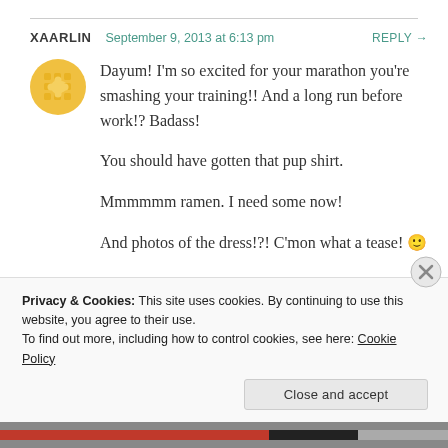XAARLIN   September 9, 2013 at 6:13 pm   REPLY →
[Figure (illustration): Yellow circular avatar with a grid/dots pattern on golden yellow background]
Dayum! I'm so excited for your marathon you're smashing your training!! And a long run before work!? Badass!

You should have gotten that pup shirt.

Mmmmmm ramen. I need some now!

And photos of the dress!?! C'mon what a tease! 🙂
Privacy & Cookies: This site uses cookies. By continuing to use this website, you agree to their use.
To find out more, including how to control cookies, see here: Cookie Policy
Close and accept